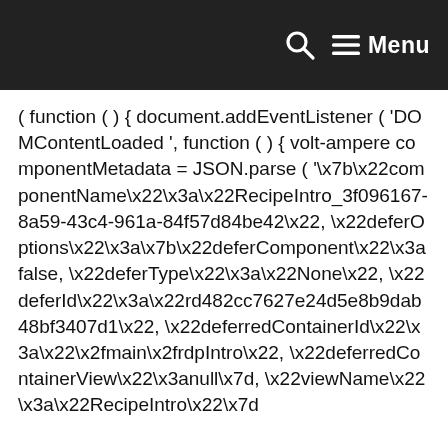Menu
( function ( ) { document.addEventListener ( 'DOMContentLoaded ', function ( ) { volt-ampere componentMetadata = JSON.parse ( '\x7b\x22componentName\x22\x3a\x22RecipeIntro_3f096167-8a59-43c4-961a-84f57d84be42\x22, \x22deferOptions\x22\x3a\x7b\x22deferComponent\x22\x3afalse, \x22deferType\x22\x3a\x22None\x22, \x22deferId\x22\x3a\x22rd482cc7627e24d5e8b9dab48bf3407d1\x22, \x22deferredContainerId\x22\x3a\x22\x2fmain\x2frdpIntro\x22, \x22deferredContainerView\x22\x3anull\x7d, \x22viewName\x22\x3a\x22RecipeIntro\x22\x7d